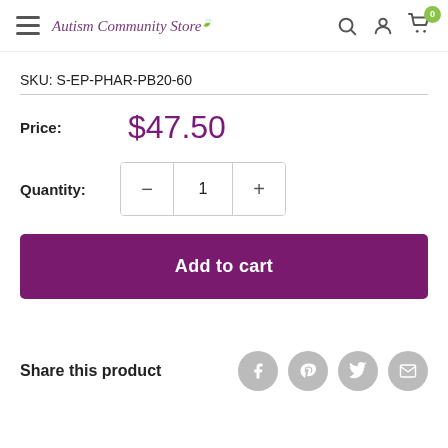Autism Community Store
SKU: S-EP-PHAR-PB20-60
Price: $47.50
Quantity: 1
Add to cart
Share this product